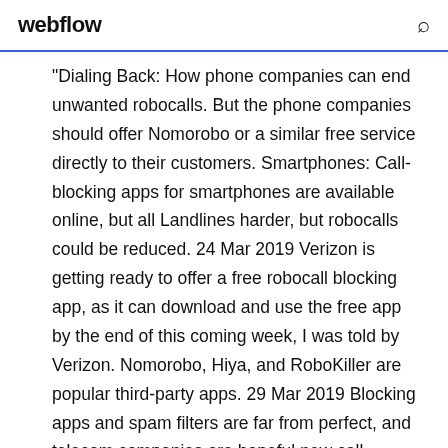webflow
“Dialing Back: How phone companies can end unwanted robocalls. But the phone companies should offer Nomorobo or a similar free service directly to their customers. Smartphones: Call-blocking apps for smartphones are available online, but all Landlines harder, but robocalls could be reduced. 24 Mar 2019 Verizon is getting ready to offer a free robocall blocking app, as it can download and use the free app by the end of this coming week, I was told by Verizon. Nomorobo, Hiya, and RoboKiller are popular third-party apps. 29 Mar 2019 Blocking apps and spam filters are far from perfect, and telecom companies are hopeful new call